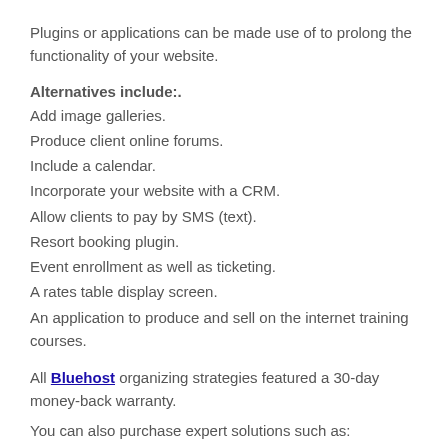Plugins or applications can be made use of to prolong the functionality of your website.
Alternatives include:.
Add image galleries.
Produce client online forums.
Include a calendar.
Incorporate your website with a CRM.
Allow clients to pay by SMS (text).
Resort booking plugin.
Event enrollment as well as ticketing.
A rates table display screen.
An application to produce and sell on the internet training courses.
All Bluehost organizing strategies featured a 30-day money-back warranty.
You can also purchase expert solutions such as: